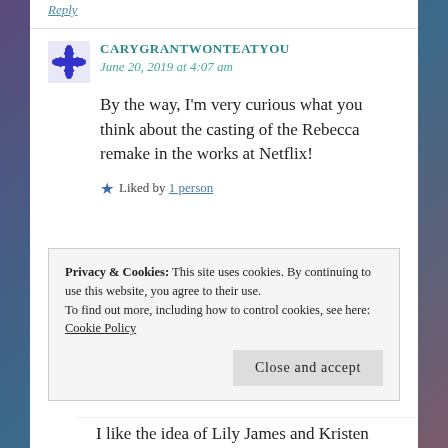Reply
CARYGRANTWONTEATYOU
June 20, 2019 at 4:07 am
By the way, I'm very curious what you think about the casting of the Rebecca remake in the works at Netflix!
Liked by 1 person
Privacy & Cookies: This site uses cookies. By continuing to use this website, you agree to their use.
To find out more, including how to control cookies, see here: Cookie Policy
Close and accept
I like the idea of Lily James and Kristen